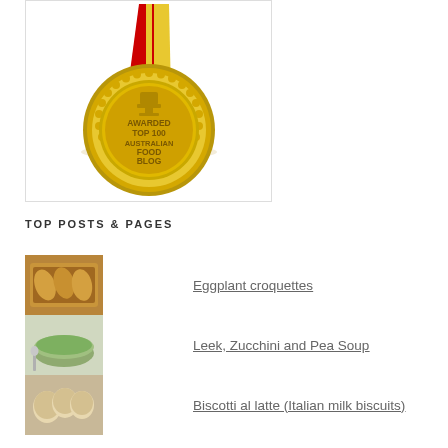[Figure (illustration): Gold medal with red ribbon awarded Top 100 Australian Food Blog, inside a white bordered box]
TOP POSTS & PAGES
[Figure (photo): Thumbnail of eggplant croquettes - breaded fried items on a tray]
Eggplant croquettes
[Figure (photo): Thumbnail of green soup - leek zucchini and pea soup in a bowl]
Leek, Zucchini and Pea Soup
[Figure (photo): Thumbnail of biscotti al latte - Italian milk biscuits]
Biscotti al latte (Italian milk biscuits)